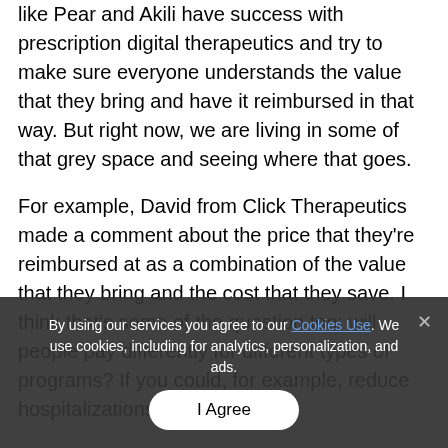like Pear and Akili have success with prescription digital therapeutics and try to make sure everyone understands the value that they bring and have it reimbursed in that way. But right now, we are living in some of that grey space and seeing where that goes.
For example, David from Click Therapeutics made a comment about the price that they're reimbursed at as a combination of the value that they bring and the cost that they save. I think that's some of the question too: will people pay differently for different types of programs? If you could, for example, reduce hospitalizations and
By using our services you agree to our Cookies Use. We use cookies, including for analytics, personalization, and ads.
I Agree